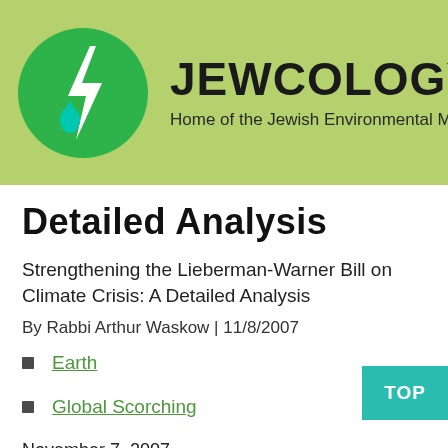[Figure (logo): Jewcology.org logo: green circle with a white lightning bolt and water drop, site name JEWCOLOGY.ORG in bold black, tagline 'Home of the Jewish Environmental Movement']
Detailed Analysis
Strengthening the Lieberman-Warner Bill on Climate Crisis: A Detailed Analysis
By Rabbi Arthur Waskow | 11/8/2007
Earth
Global Scorching
November 7, 2007
To: Members of the Committee on Environment and Public Works and Subcommittee on Private Sector and Consumer Solutions to Global Warming and Wildlife